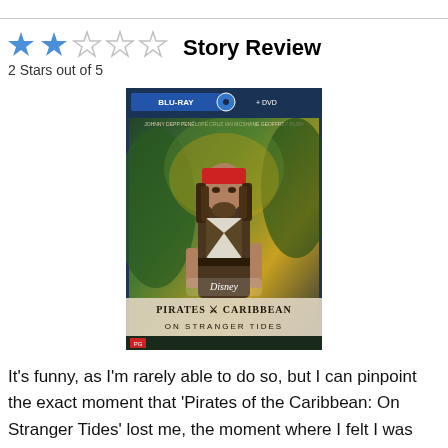Story Review
2 Stars out of 5
[Figure (photo): Blu-ray + DVD cover of 'Pirates of the Caribbean: On Stranger Tides' (Disney), showing Captain Jack Sparrow in costume against a tropical background.]
It's funny, as I'm rarely able to do so, but I can pinpoint the exact moment that 'Pirates of the Caribbean: On Stranger Tides' lost me, the moment where I felt I was watching an inferior knockoff to the